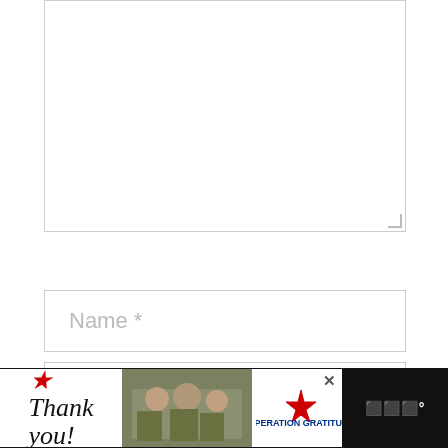[Figure (screenshot): Comment textarea (empty), Name input field, Email input field with heart/like button overlay, save name/email checkbox with label text, 'What's Next' widget, share count panel, and Operation Gratitude advertisement banner at the bottom.]
Name *
Email *
Save my name, email, and website in this browser for the next time I comment.
[Figure (screenshot): Operation Gratitude advertisement banner with 'Thank you!' text, soldiers photo, and Operation Gratitude logo. Close button visible.]